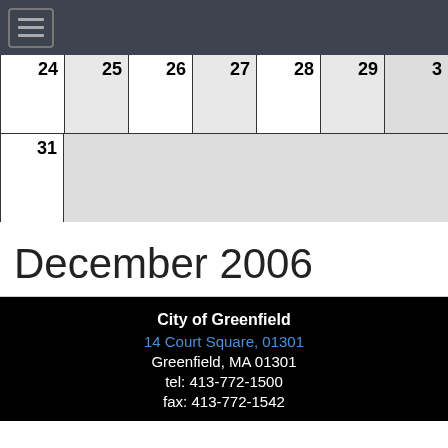Navigation bar with hamburger menu
| 24 | 25 | 26 | 27 | 28 | 29 | 3 |
| --- | --- | --- | --- | --- | --- | --- |
|  |  |  |  |  |  |  |
| 31 |  |
December 2006
City of Greenfield
14 Court Square, 01301
Greenfield, MA 01301
tel: 413-772-1500
fax: 413-772-1542